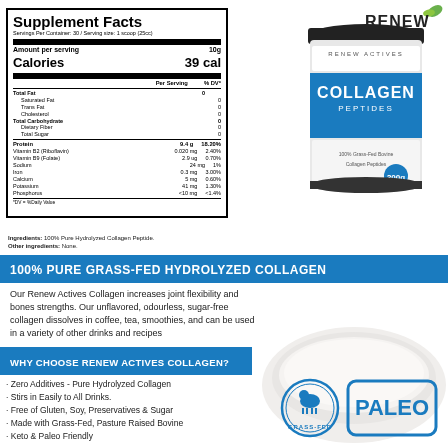|  | Per Serving | % DV* |
| --- | --- | --- |
| Total Fat | 0 |  |
| Saturated Fat | 0 |  |
| Trans Fat | 0 |  |
| Cholesterol | 0 |  |
| Total Carbohydrate | 0 |  |
| Dietary Fiber | 0 |  |
| Total Sugar | 0 |  |
| Protein | 9.4 g | 18.20% |
| Vitamin B2 (Riboflavin) | 0.020 mg | 2.40% |
| Vitamin B9 (Folate) | 2.9 ug | 0.70% |
| Sodium | 24 mg | 1% |
| Iron | 0.3 mg | 3.00% |
| Calcium | 5 mg | 0.60% |
| Potassium | 41 mg | 1.30% |
| Phosphorus | <10 mg | <1.4% |
[Figure (photo): Renew Actives 100% Pure Collagen Peptides product container (300g), white cylindrical tub with black lid and blue label]
[Figure (logo): Renew Actives logo with green leaf]
Ingredients: 100% Pure Hydrolyzed Collagen Peptide. Other ingredients: None.
100% PURE GRASS-FED HYDROLYZED COLLAGEN
Our Renew Actives Collagen increases joint flexibility and bones strengths. Our unflavored, odourless, sugar-free collagen dissolves in coffee, tea, smoothies, and can be used in a variety of other drinks and recipes
WHY CHOOSE RENEW ACTIVES COLLAGEN?
· Zero Additives - Pure Hydrolyzed Collagen
· Stirs in Easily to All Drinks.
· Free of Gluten, Soy, Preservatives & Sugar
· Made with Grass-Fed, Pasture Raised Bovine
· Keto & Paleo Friendly
[Figure (photo): Bowl of white collagen powder with Grass-Fed and Paleo certification badges]